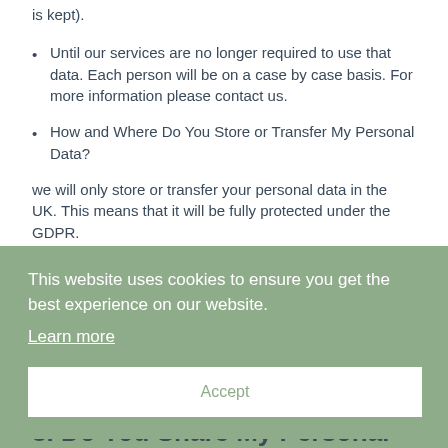is kept).
Until our services are no longer required to use that data. Each person will be on a case by case basis. For more information please contact us.
How and Where Do You Store or Transfer My Personal Data?
we will only store or transfer your personal data in the UK. This means that it will be fully protected under the GDPR.
...ailed
...or ...n ...nal
[Figure (screenshot): Cookie consent banner with green background. Text reads: 'This website uses cookies to ensure you get the best experience on our website. Learn more' with an Accept button.]
8. Do You Share My Personal